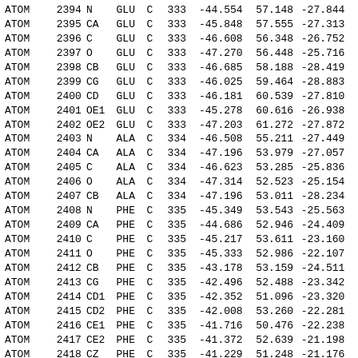| type | serial | name | res | chain | resseq | x | y | z | ... |
| --- | --- | --- | --- | --- | --- | --- | --- | --- | --- |
| ATOM | 2394 | N | GLU | C | 333 | -44.554 | 57.148 | -27.844 |  |
| ATOM | 2395 | CA | GLU | C | 333 | -45.848 | 57.555 | -27.313 |  |
| ATOM | 2396 | C | GLU | C | 333 | -46.608 | 56.348 | -26.752 |  |
| ATOM | 2397 | O | GLU | C | 333 | -47.270 | 56.448 | -25.716 |  |
| ATOM | 2398 | CB | GLU | C | 333 | -46.685 | 58.188 | -28.419 |  |
| ATOM | 2399 | CG | GLU | C | 333 | -46.025 | 59.464 | -28.883 |  |
| ATOM | 2400 | CD | GLU | C | 333 | -46.181 | 60.539 | -27.810 |  |
| ATOM | 2401 | OE1 | GLU | C | 333 | -45.278 | 60.616 | -26.938 |  |
| ATOM | 2402 | OE2 | GLU | C | 333 | -47.203 | 61.272 | -27.872 |  |
| ATOM | 2403 | N | ALA | C | 334 | -46.508 | 55.211 | -27.449 |  |
| ATOM | 2404 | CA | ALA | C | 334 | -47.196 | 53.979 | -27.057 |  |
| ATOM | 2405 | C | ALA | C | 334 | -46.623 | 53.285 | -25.836 |  |
| ATOM | 2406 | O | ALA | C | 334 | -47.314 | 52.523 | -25.154 |  |
| ATOM | 2407 | CB | ALA | C | 334 | -47.196 | 53.011 | -28.234 |  |
| ATOM | 2408 | N | PHE | C | 335 | -45.349 | 53.543 | -25.563 |  |
| ATOM | 2409 | CA | PHE | C | 335 | -44.686 | 52.946 | -24.409 |  |
| ATOM | 2410 | C | PHE | C | 335 | -45.217 | 53.611 | -23.160 |  |
| ATOM | 2411 | O | PHE | C | 335 | -45.333 | 52.986 | -22.107 |  |
| ATOM | 2412 | CB | PHE | C | 335 | -43.178 | 53.159 | -24.511 |  |
| ATOM | 2413 | CG | PHE | C | 335 | -42.496 | 52.488 | -23.342 |  |
| ATOM | 2414 | CD1 | PHE | C | 335 | -42.352 | 51.096 | -23.320 |  |
| ATOM | 2415 | CD2 | PHE | C | 335 | -42.008 | 53.260 | -22.281 |  |
| ATOM | 2416 | CE1 | PHE | C | 335 | -41.716 | 50.476 | -22.238 |  |
| ATOM | 2417 | CE2 | PHE | C | 335 | -41.372 | 52.639 | -21.198 |  |
| ATOM | 2418 | CZ | PHE | C | 335 | -41.229 | 51.248 | -21.176 |  |
| ATOM | 2419 | N | ASP | C | 336 | -45.531 | 54.895 | -23.298 |  |
| ATOM | 2420 | CA | ASP | C | 336 | -46.069 | 55.688 | -22.202 |  |
| ATOM | 2421 | C | ASP | C | 336 | -47.461 | 55.158 | -21.832 |  |
| ATOM | 2422 | O | ASP | C | 336 | -47.692 | 54.752 | -20.687 |  |
| ATOM | 2423 | CB | ASP | C | 336 | -46.176 | 57.151 | -22.624 |  |